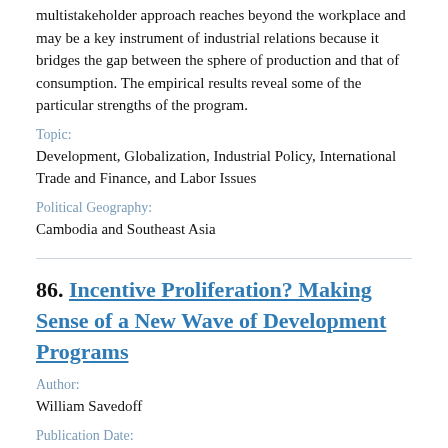multistakeholder approach reaches beyond the workplace and may be a key instrument of industrial relations because it bridges the gap between the sphere of production and that of consumption. The empirical results reveal some of the particular strengths of the program.
Topic:
Development, Globalization, Industrial Policy, International Trade and Finance, and Labor Issues
Political Geography:
Cambodia and Southeast Asia
86. Incentive Proliferation? Making Sense of a New Wave of Development Programs
Author:
William Savedoff
Publication Date: